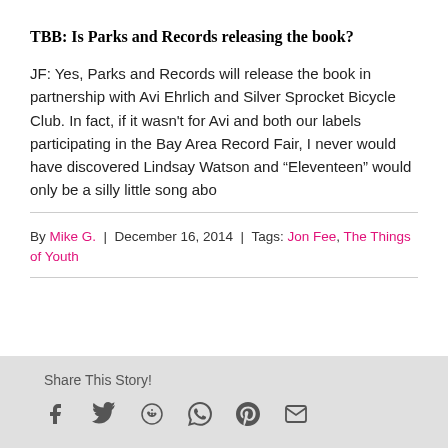TBB: Is Parks and Records releasing the book?
JF: Yes, Parks and Records will release the book in partnership with Avi Ehrlich and Silver Sprocket Bicycle Club. In fact, if it wasn't for Avi and both our labels participating in the Bay Area Record Fair, I never would have discovered Lindsay Watson and “Eleventeen” would only be a silly little song abo
By Mike G.  |  December 16, 2014  |  Tags: Jon Fee, The Things of Youth
Share This Story!